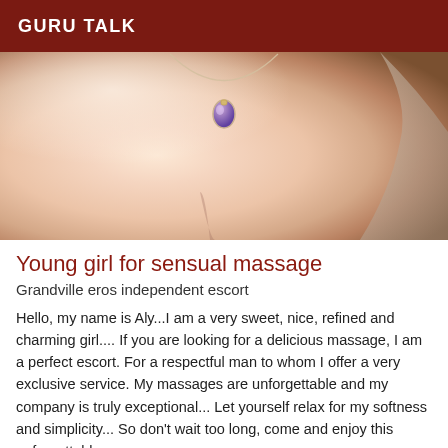GURU TALK
[Figure (photo): Close-up photo of a woman's neck and chest area, wearing a purple teardrop gemstone pendant necklace on a thin chain. Skin tones are warm and the background shows soft lighting.]
Young girl for sensual massage
Grandville eros independent escort
Hello, my name is Aly...I am a very sweet, nice, refined and charming girl.... If you are looking for a delicious massage, I am a perfect escort. For a respectful man to whom I offer a very exclusive service. My massages are unforgettable and my company is truly exceptional... Let yourself relax for my softness and simplicity... So don't wait too long, come and enjoy this unforgettable